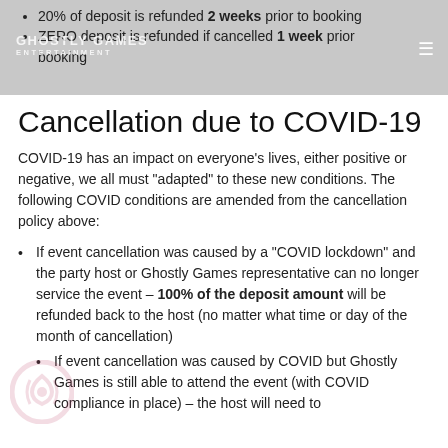20% of deposit is refunded 2 weeks prior to booking
ZERO deposit is refunded if cancelled 1 week prior booking
Cancellation due to COVID-19
COVID-19 has an impact on everyone’s lives, either positive or negative, we all must “adapted” to these new conditions. The following COVID conditions are amended from the cancellation policy above:
If event cancellation was caused by a “COVID lockdown” and the party host or Ghostly Games representative can no longer service the event – 100% of the deposit amount will be refunded back to the host (no matter what time or day of the month of cancellation)
If event cancellation was caused by COVID but Ghostly Games is still able to attend the event (with COVID compliance in place) – the host will need to